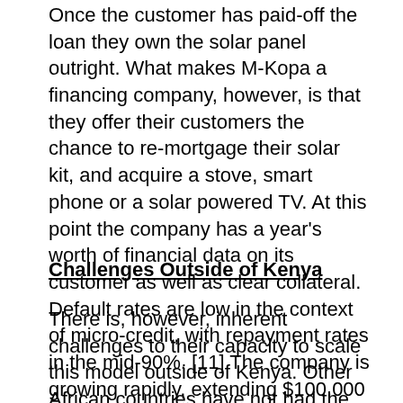Once the customer has paid-off the loan they own the solar panel outright. What makes M-Kopa a financing company, however, is that they offer their customers the chance to re-mortgage their solar kit, and acquire a stove, smart phone or a solar powered TV. At this point the company has a year's worth of financial data on its customer as well as clear collateral. Default rates are low in the context of micro-credit, with repayment rates in the mid-90%. [11] The company is growing rapidly, extending $100,000 of loans to 600 new customers, daily. [12]
Challenges Outside of Kenya
There is, however, inherent challenges to their capacity to scale this model outside of Kenya. Other African countries have not had the adoption rate of mobile money. Without a liquid financial